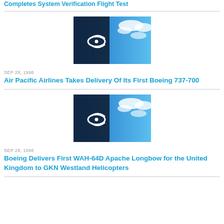Completes System Verification Flight Test
[Figure (photo): Boeing logo on building against blue sky with clouds]
SEP 28, 1998
Air Pacific Airlines Takes Delivery Of Its First Boeing 737-700
[Figure (photo): Boeing logo on building against blue sky with clouds]
SEP 28, 1998
Boeing Delivers First WAH-64D Apache Longbow for the United Kingdom to GKN Westland Helicopters